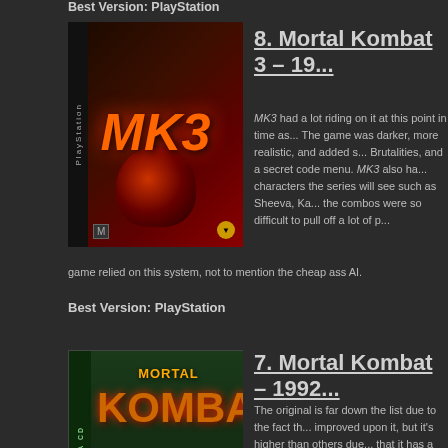Best Version: PlayStation
[Figure (photo): Mortal Kombat 3 PlayStation game cover with red skull imagery]
8. Mortal Kombat 3 – 19...
MK3 had a lot riding on it at this point in time as... The game was darker, more realistic, and added s... Brutalities, and a secret code menu. MK3 also ha... characters the series will see such as Sheeva, Ka... the combos were so difficult to pull off a lot of p... game relied on this system, not to mention the cheap ass AI.
Best Version: PlayStation
[Figure (photo): Mortal Kombat Sega CD game cover with dark green coloring and character list]
7. Mortal Kombat – 1992...
The original is far down the list due to the fact th... improved upon it, but it's higher than others due... that it has a one-of-a-kind atmosphere that no o... original roster and Test-Your-Might combined wi...